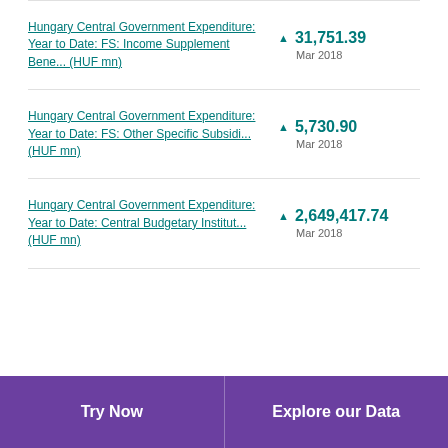Hungary Central Government Expenditure: Year to Date: FS: Income Supplement Bene... (HUF mn) ▲ 31,751.39 Mar 2018
Hungary Central Government Expenditure: Year to Date: FS: Other Specific Subsidi... (HUF mn) ▲ 5,730.90 Mar 2018
Hungary Central Government Expenditure: Year to Date: Central Budgetary Institut... (HUF mn) ▲ 2,649,417.74 Mar 2018
Try Now | Explore our Data